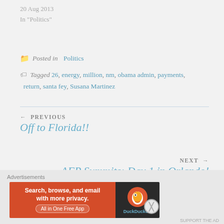20 Aug 2013
In "Politics"
Posted in Politics
Tagged 26, energy, million, nm, obama admin, payments, return, santa fey, Susana Martinez
← PREVIOUS
Off to Florida!!
NEXT →
AFP Summits: Day 1 in Orlando!
Advertisements
[Figure (other): DuckDuckGo advertisement banner: Search, browse, and email with more privacy. All in One Free App]